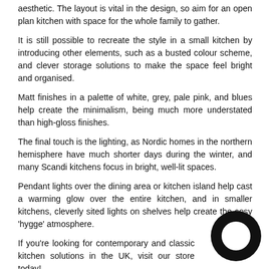aesthetic. The layout is vital in the design, so aim for an open plan kitchen with space for the whole family to gather.
It is still possible to recreate the style in a small kitchen by introducing other elements, such as a busted colour scheme, and clever storage solutions to make the space feel bright and organised.
Matt finishes in a palette of white, grey, pale pink, and blues help create the minimalism, being much more understated than high-gloss finishes.
The final touch is the lighting, as Nordic homes in the northern hemisphere have much shorter days during the winter, and many Scandi kitchens focus in bright, well-lit spaces.
Pendant lights over the dining area or kitchen island help cast a warming glow over the entire kitchen, and in smaller kitchens, cleverly sited lights on shelves help create the cosy 'hygge' atmosphere.
If you're looking for contemporary and classic kitchen solutions in the UK, visit our store today!
[Figure (logo): Black circular logo mark — letter O or ring shape in black]